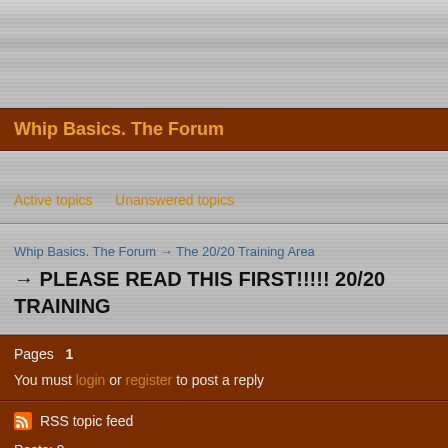[Figure (other): Brushed metal gray header banner background]
Whip Basics. The Forum
Active topics   Unanswered topics
Whip Basics. The Forum → The 20/20 Training Area → PLEASE READ THIS FIRST!!!!! 20/20 TRAINING
Pages  1
You must login or register to post a reply
RSS topic feed
Posts: 9